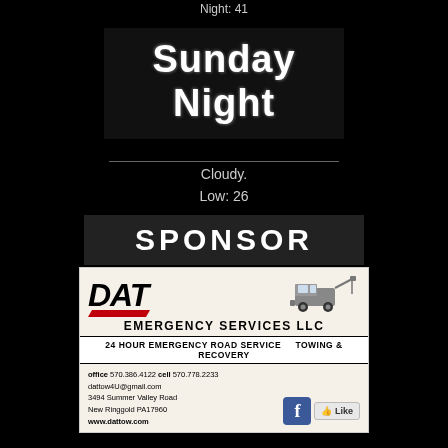Night: 41
Sunday Night
Cloudy.
Low: 26
SPONSOR
[Figure (illustration): DAT Emergency Services LLC advertisement card with logo, tow truck image, contact information, and Facebook like button]
24 HOUR EMERGENCY ROAD SERVICE   TOWING & RECOVERY
office 570.386.4122 cell 570.778.2233
dattow4U@gmail.com
3494 Summer Valley Road
New Ringgold PA17960
www.dattow.com